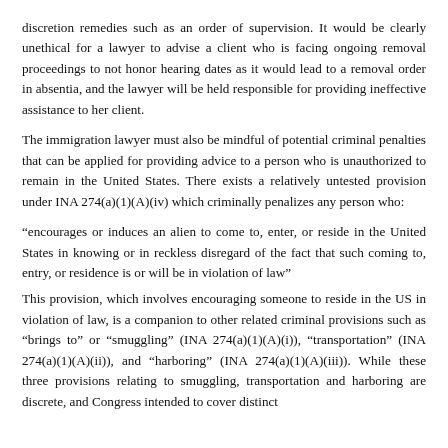discretion remedies such as an order of supervision. It would be clearly unethical for a lawyer to advise a client who is facing ongoing removal proceedings to not honor hearing dates as it would lead to a removal order in absentia, and the lawyer will be held responsible for providing ineffective assistance to her client.
The immigration lawyer must also be mindful of potential criminal penalties that can be applied for providing advice to a person who is unauthorized to remain in the United States. There exists a relatively untested provision under INA 274(a)(1)(A)(iv) which criminally penalizes any person who:
“encourages or induces an alien to come to, enter, or reside in the United States in knowing or in reckless disregard of the fact that such coming to, entry, or residence is or will be in violation of law”
This provision, which involves encouraging someone to reside in the US in violation of law, is a companion to other related criminal provisions such as “brings to” or “smuggling” (INA 274(a)(1)(A)(i)), “transportation” (INA 274(a)(1)(A)(ii)), and “harboring” (INA 274(a)(1)(A)(iii)). While these three provisions relating to smuggling, transportation and harboring are discrete, and Congress intended to cover distinct